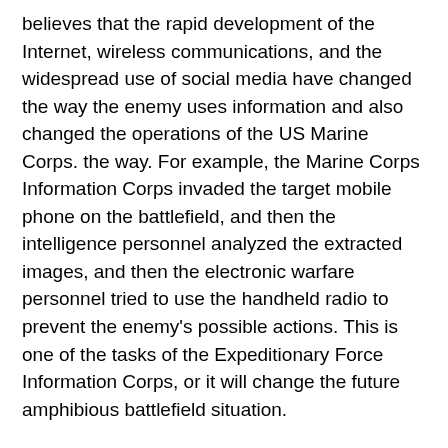believes that the rapid development of the Internet, wireless communications, and the widespread use of social media have changed the way the enemy uses information and also changed the operations of the US Marine Corps. the way. For example, the Marine Corps Information Corps invaded the target mobile phone on the battlefield, and then the intelligence personnel analyzed the extracted images, and then the electronic warfare personnel tried to use the handheld radio to prevent the enemy's possible actions. This is one of the tasks of the Expeditionary Force Information Corps, or it will change the future amphibious battlefield situation.
In order to speed up the formation of the expeditionary force information team and plan future information operations, the US Marine Corps is developing a new information war blueprint, which is expected to be completed this spring. The blueprint is a conceptual framework document that will be updated regularly to address the policies, standards, hardware and software facilities, technology capabilities, etc. of the